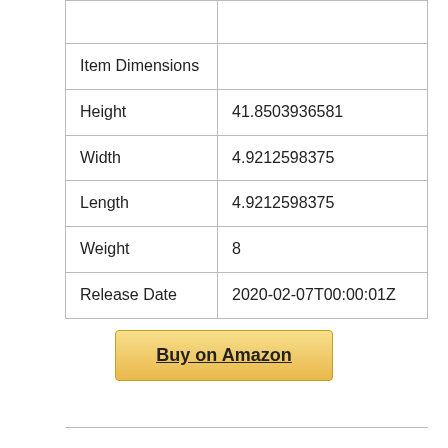|  |  |
| Item Dimensions |  |
| Height | 41.8503936581 |
| Width | 4.9212598375 |
| Length | 4.9212598375 |
| Weight | 8 |
| Release Date | 2020-02-07T00:00:01Z |
Buy on Amazon